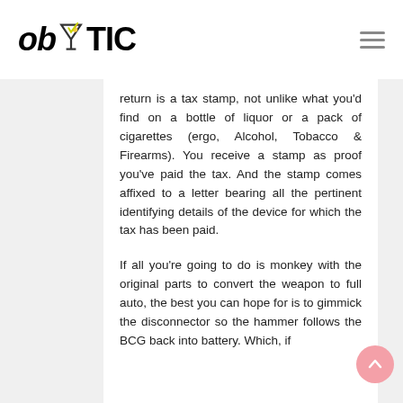ob TIC
return is a tax stamp, not unlike what you'd find on a bottle of liquor or a pack of cigarettes (ergo, Alcohol, Tobacco & Firearms). You receive a stamp as proof you've paid the tax. And the stamp comes affixed to a letter bearing all the pertinent identifying details of the device for which the tax has been paid.
If all you're going to do is monkey with the original parts to convert the weapon to full auto, the best you can hope for is to gimmick the disconnector so the hammer follows the BCG back into battery. Which, if